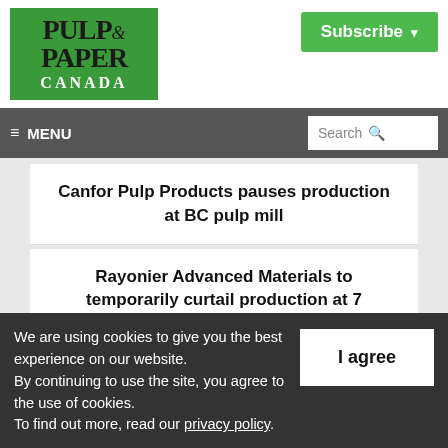[Figure (logo): Pulp & Paper Canada logo — green background with bold serif text reading PULP & PAPER CANADA]
Subscribe ▾
≡ MENU   Search 🔍
Canfor Pulp Products pauses production at BC pulp mill
Rayonier Advanced Materials to temporarily curtail production at 7 Canadian plants
We are using cookies to give you the best experience on our website.
By continuing to use the site, you agree to the use of cookies.
To find out more, read our privacy policy.